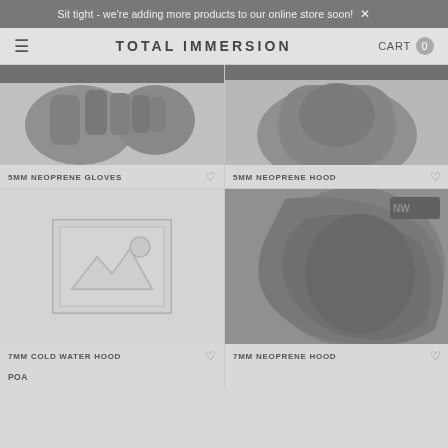Sit tight - we're adding more products to our online store soon! ×
TOTAL IMMERSION | CART 0
[Figure (photo): Top portion of 5MM Neoprene Gloves product photo, cropped/partially visible]
5MM NEOPRENE GLOVES
[Figure (photo): Top portion of 5MM Neoprene Hood product photo, cropped/partially visible]
5MM NEOPRENE HOOD
[Figure (photo): Placeholder image (no photo available) for 7MM Cold Water Hood]
7MM COLD WATER HOOD
POA
[Figure (photo): 7MM Neoprene Hood product photo showing dark grey/charcoal hood from side angle]
7MM NEOPRENE HOOD